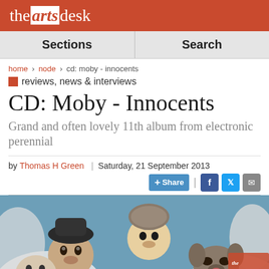the arts desk
Sections | Search
home > node > cd: moby - innocents
reviews, news & interviews
CD: Moby - Innocents
Grand and often lovely 11th album from electronic perennial
by Thomas H Green | Saturday, 21 September 2013
[Figure (photo): Upward-looking fisheye photo of several people (and a dog) looking down at the camera against a blue sky background, with the artsdesk.com watermark visible in the lower right corner.]